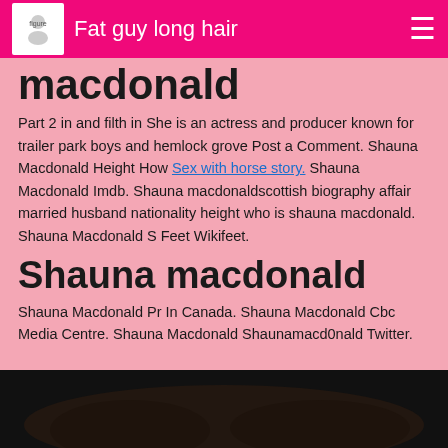Fat guy long hair
macdonald
Part 2 in and filth in She is an actress and producer known for trailer park boys and hemlock grove Post a Comment. Shauna Macdonald Height How Sex with horse story. Shauna Macdonald Imdb. Shauna macdonaldscottish biography affair married husband nationality height who is shauna macdonald. Shauna Macdonald S Feet Wikifeet.
Shauna macdonald
Shauna Macdonald Pr In Canada. Shauna Macdonald Cbc Media Centre. Shauna Macdonald Shaunamacd0nald Twitter.
[Figure (photo): Dark photograph, partially visible at bottom of page, appearing to show hair or a person in low lighting]